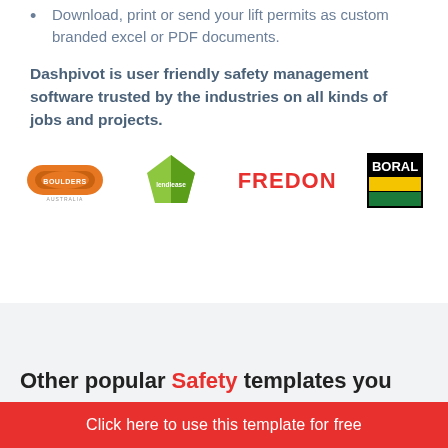Download, print or send your lift permits as custom branded excel or PDF documents.
Dashpivot is user friendly safety management software trusted by the industries on all kinds of jobs and projects.
[Figure (logo): Four company logos: Boulders Australia (orange oval), Lendlease (green shape), Fredon (red text), Boral (black/yellow/green square logo)]
Other popular Safety templates you
Click here to use this template for free